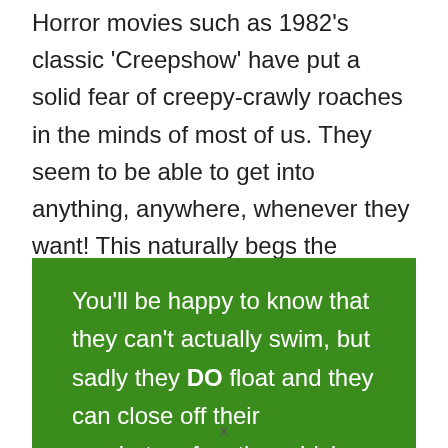Horror movies such as 1982's classic 'Creepshow' have put a solid fear of creepy-crawly roaches in the minds of most of us. They seem to be able to get into anything, anywhere, whenever they want! This naturally begs the question: Can cockroaches swim or will they drown if submerged in water?
You'll be happy to know that they can't actually swim, but sadly they DO float and they can close off their respiratory function which may give
x